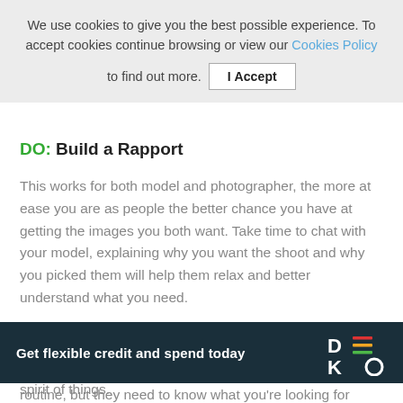We use cookies to give you the best possible experience. To accept cookies continue browsing or view our Cookies Policy to find out more. I Accept
DO: Build a Rapport
This works for both model and photographer, the more at ease you are as people the better chance you have at getting the images you both want. Take time to chat with your model, explaining why you want the shoot and why you picked them will help them relax and better understand what you need.
DON'T: Just Stand Behind the Camera
Experienced models often have an extensive posing routine, but they need to know what you're looking for spirit of things.